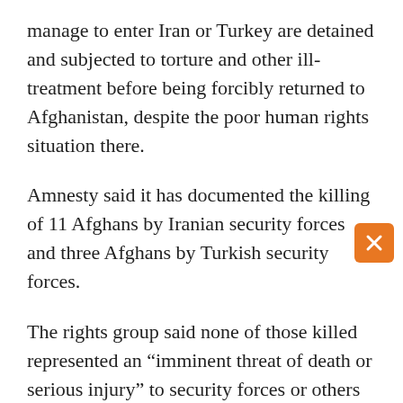manage to enter Iran or Turkey are detained and subjected to torture and other ill-treatment before being forcibly returned to Afghanistan, despite the poor human rights situation there.
Amnesty said it has documented the killing of 11 Afghans by Iranian security forces and three Afghans by Turkish security forces.
The rights group said none of those killed represented an “imminent threat of death or serious injury” to security forces or others that would meet the threshold for the use of firearms under international law and standards.
“We documented how Iranian security forces have unlawfully killed and injured dozens of Afghans since last August, including by firing